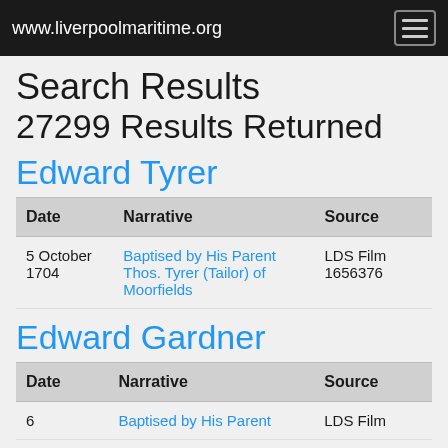www.liverpoolmaritime.org
Search Results
27299 Results Returned
Edward Tyrer
| Date | Narrative | Source |
| --- | --- | --- |
| 5 October 1704 | Baptised by His Parent Thos. Tyrer (Tailor) of Moorfields | LDS Film 1656376 |
Edward Gardner
| Date | Narrative | Source |
| --- | --- | --- |
| 6 | Baptised by His Parent | LDS Film |